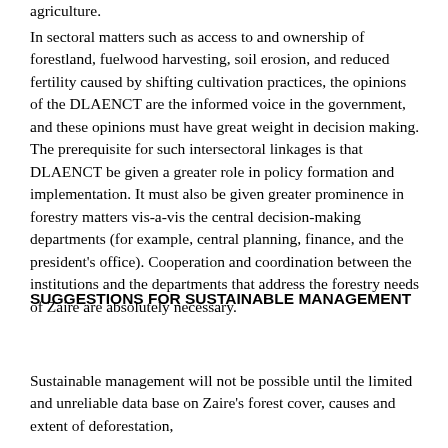agriculture.
In sectoral matters such as access to and ownership of forestland, fuelwood harvesting, soil erosion, and reduced fertility caused by shifting cultivation practices, the opinions of the DLAENCT are the informed voice in the government, and these opinions must have great weight in decision making. The prerequisite for such intersectoral linkages is that DLAENCT be given a greater role in policy formation and implementation. It must also be given greater prominence in forestry matters vis-a-vis the central decision-making departments (for example, central planning, finance, and the president's office). Cooperation and coordination between the institutions and the departments that address the forestry needs of Zaire are absolutely necessary.
SUGGESTIONS FOR SUSTAINABLE MANAGEMENT
Sustainable management will not be possible until the limited and unreliable data base on Zaire's forest cover, causes and extent of deforestation,